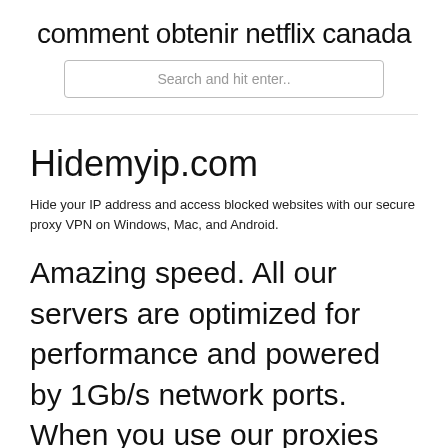comment obtenir netflix canada
Search and hit enter..
Hidemyip.com
Hide your IP address and access blocked websites with our secure proxy VPN on Windows, Mac, and Android.
Amazing speed. All our servers are optimized for performance and powered by 1Gb/s network ports. When you use our proxies